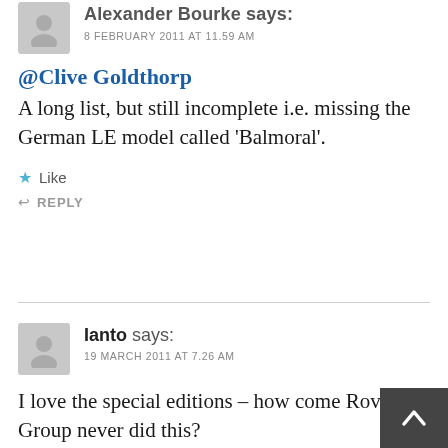Alexander Bourke says:
8 FEBRUARY 2011 AT 11.59 AM
@Clive Goldthorp
A long list, but still incomplete i.e. missing the German LE model called 'Balmoral'.
Like
REPLY
Ianto says:
19 MARCH 2011 AT 7.26 AM
I love the special editions – how come Rover Group never did this?